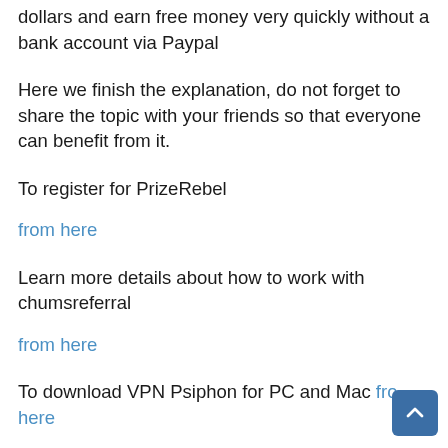dollars and earn free money very quickly without a bank account via Paypal
Here we finish the explanation, do not forget to share the topic with your friends so that everyone can benefit from it.
To register for PrizeRebel
from here
Learn more details about how to work with chumsreferral
from here
To download VPN Psiphon for PC and Mac from here